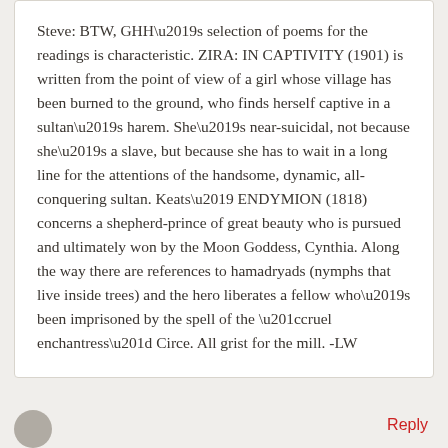Steve: BTW, GHH's selection of poems for the readings is characteristic. ZIRA: IN CAPTIVITY (1901) is written from the point of view of a girl whose village has been burned to the ground, who finds herself captive in a sultan's harem. She's near-suicidal, not because she's a slave, but because she has to wait in a long line for the attentions of the handsome, dynamic, all-conquering sultan. Keats' ENDYMION (1818) concerns a shepherd-prince of great beauty who is pursued and ultimately won by the Moon Goddess, Cynthia. Along the way there are references to hamadryads (nymphs that live inside trees) and the hero liberates a fellow who's been imprisoned by the spell of the “cruel enchantress” Circe. All grist for the mill. -LW
Reply